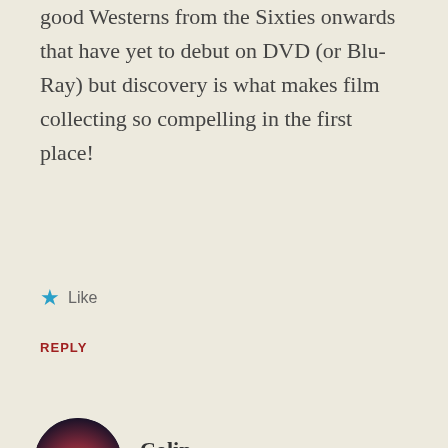good Westerns from the Sixties onwards that have yet to debut on DVD (or Blu-Ray) but discovery is what makes film collecting so compelling in the first place!
★ Like
REPLY
[Figure (photo): Circular avatar showing a silhouetted cowboy on horseback against a dramatic sunset sky]
Colin
MARCH 22, 2014 AT 5:04 PM
Advertisements
[Figure (infographic): Advertisement banner with dark background showing a logo '2' and text 'Fewer meetings, more work.']